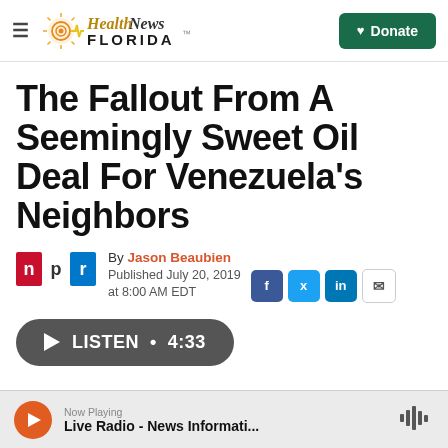Health News Florida — Donate
The Fallout From A Seemingly Sweet Oil Deal For Venezuela's Neighbors
By Jason Beaubien
Published July 20, 2019 at 8:00 AM EDT
[Figure (other): LISTEN • 4:33 audio player button]
Now Playing — Live Radio - News Informati...